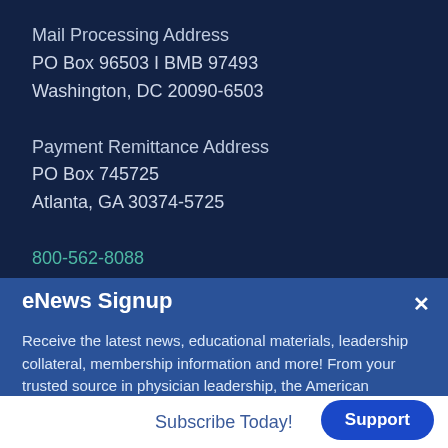Mail Processing Address
PO Box 96503 I BMB 97493
Washington, DC 20090-6503
Payment Remittance Address
PO Box 745725
Atlanta, GA 30374-5725
800-562-8088
813-287-8993 Fax
eNews Signup
Receive the latest news, educational materials, leadership collateral, membership information and more! From your trusted source in physician leadership, the American Association for Physician Leadership.
Subscribe Today!